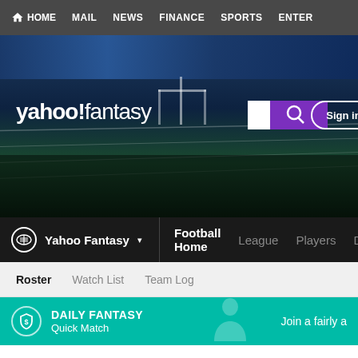HOME  MAIL  NEWS  FINANCE  SPORTS  ENTER...
[Figure (screenshot): Yahoo Fantasy Sports hero banner with football stadium background, Yahoo! fantasy logo, search box, and Sign in button]
Yahoo Fantasy ▾  Football Home  League  Players  Draft
Roster  Watch List  Team Log
[Figure (infographic): Daily Fantasy Quick Match teal banner with shield icon. Text: DAILY FANTASY / Quick Match / Join a fairly a...]
Dustin's Team ▾  --hidden--  Since '16  Rating: 7...  LE...